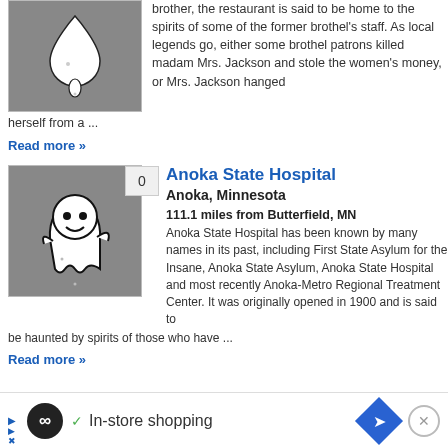[Figure (illustration): Ghost/drip illustration on gray background]
brother, the restaurant is said to be home to the spirits of some of the former brothel's staff. As local legends go, either some brothel patrons killed madam Mrs. Jackson and stole the women's money, or Mrs. Jackson hanged herself from a ...
Read more »
[Figure (illustration): Friendly ghost cartoon illustration on gray background with badge showing 0]
Anoka State Hospital
Anoka, Minnesota
111.1 miles from Butterfield, MN
Anoka State Hospital has been known by many names in its past, including First State Asylum for the Insane, Anoka State Asylum, Anoka State Hospital and most recently Anoka-Metro Regional Treatment Center. It was originally opened in 1900 and is said to be haunted by spirits of those who have ...
Read more »
[Figure (other): Advertisement bar: In-store shopping]